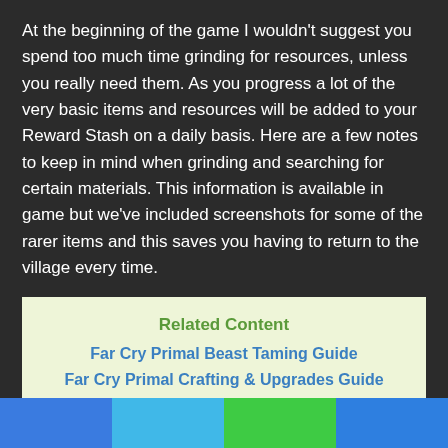At the beginning of the game I wouldn't suggest you spend too much time grinding for resources, unless you really need them. As you progress a lot of the very basic items and resources will be added to your Reward Stash on a daily basis. Here are a few notes to keep in mind when grinding and searching for certain materials. This information is available in game but we've included screenshots for some of the rarer items and this saves you having to return to the village every time.
Related Content
Far Cry Primal Beast Taming Guide
Far Cry Primal Crafting & Upgrades Guide
Where To Claim DLC Weapons In Far Cry Primal
Where To Find The Grapple Claw In Far Cry Primal